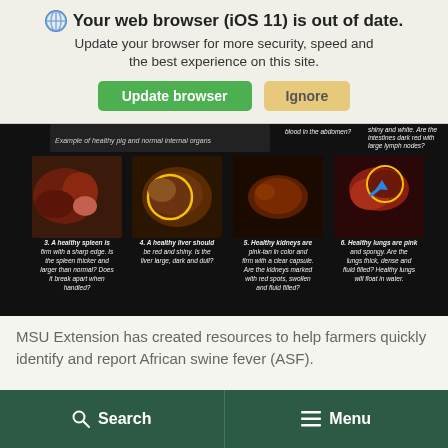Your web browser (iOS 11) is out of date. Update your browser for more security, speed and the best experience on this site.
Update browser | Ignore
[Figure (infographic): Dark-background veterinary photo strip showing pig organs: spleen, liver, kidneys, lungs with captions about healthy vs abnormal appearance for African swine fever detection. Labels: 3. A healthy spleen is firm with a sharp edge. Is the spleen thicker and larger than normal? Does it break apart when handled? 4. A healthy liver should be red and shiny. Is the liver large, dark and dull? 5. Healthy kidneys are pink-tan in color and firm with a clear capsule. Are the kidneys marked with red spots, swollen and fluid filled? 6. Healthy lungs are pink and spongy. Are the lungs thick, dense and fluid filled? Healthy lungs will float in water.]
MSU Extension has created resources to help farmers quickly identify and report African swine fever (ASF).
Search | Menu